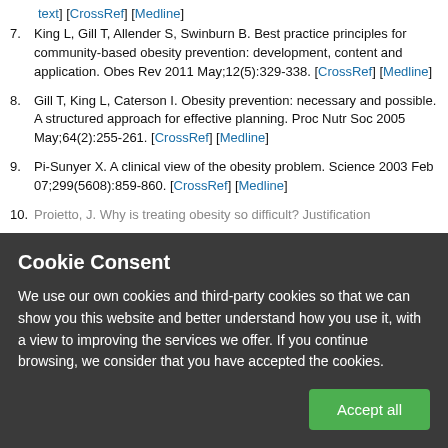text] [CrossRef] [Medline]
7. King L, Gill T, Allender S, Swinburn B. Best practice principles for community-based obesity prevention: development, content and application. Obes Rev 2011 May;12(5):329-338. [CrossRef] [Medline]
8. Gill T, King L, Caterson I. Obesity prevention: necessary and possible. A structured approach for effective planning. Proc Nutr Soc 2005 May;64(2):255-261. [CrossRef] [Medline]
9. Pi-Sunyer X. A clinical view of the obesity problem. Science 2003 Feb 07;299(5608):859-860. [CrossRef] [Medline]
10. Proietto, J. Why is treating obesity so difficult? Justification
Cookie Consent
We use our own cookies and third-party cookies so that we can show you this website and better understand how you use it, with a view to improving the services we offer. If you continue browsing, we consider that you have accepted the cookies.
Accept all